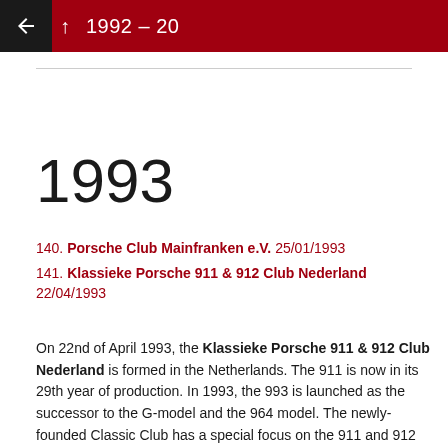1992 – 20…
1993
140. Porsche Club Mainfranken e.V. 25/01/1993
141. Klassieke Porsche 911 & 912 Club Nederland 22/04/1993
On 22nd of April 1993, the Klassieke Porsche 911 & 912 Club Nederland is formed in the Netherlands. The 911 is now in its 29th year of production. In 1993, the 993 is launched as the successor to the G-model and the 964 model. The newly-founded Classic Club has a special focus on the 911 and 912 models...